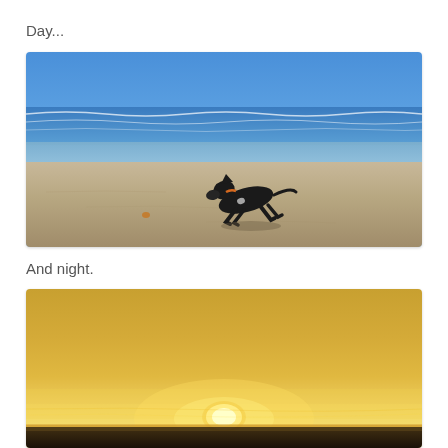Day...
[Figure (photo): A black dog running on a sandy beach with ocean waves and blue sky in the background, chasing a small orange ball.]
And night.
[Figure (photo): A sunset over a beach horizon with warm golden and orange tones, the sun low on the horizon.]